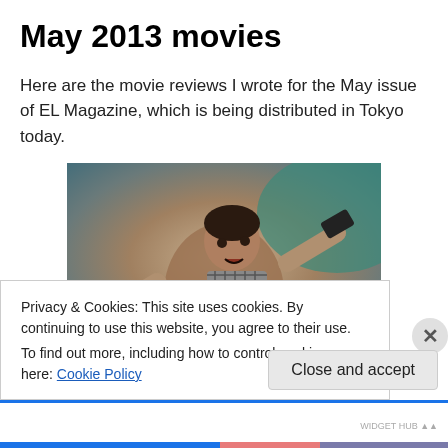May 2013 movies
Here are the movie reviews I wrote for the May issue of EL Magazine, which is being distributed in Tokyo today.
[Figure (photo): A man pointing two guns toward the camera, wearing a checkered scarf, action movie still.]
Privacy & Cookies: This site uses cookies. By continuing to use this website, you agree to their use.
To find out more, including how to control cookies, see here: Cookie Policy
Close and accept